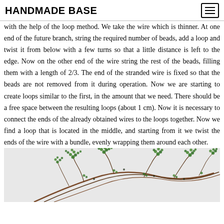HANDMADE BASE
with the help of the loop method. We take the wire which is thinner. At one end of the future branch, string the required number of beads, add a loop and twist it from below with a few turns so that a little distance is left to the edge. Now on the other end of the wire string the rest of the beads, filling them with a length of 2/3. The end of the stranded wire is fixed so that the beads are not removed from it during operation. Now we are starting to create loops similar to the first, in the amount that we need. There should be a free space between the resulting loops (about 1 cm). Now it is necessary to connect the ends of the already obtained wires to the loops together. Now we find a loop that is located in the middle, and starting from it we twist the ends of the wire with a bundle, evenly wrapping them around each other.
[Figure (photo): Photo of a handmade beaded branch/plant decoration made with green beads on wire, resembling a juniper or cypress branch with small round bead clusters.]